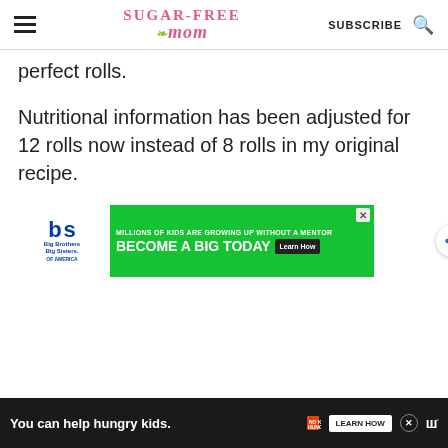Sugar-Free Mom — SUBSCRIBE
perfect rolls.
Nutritional information has been adjusted for 12 rolls now instead of 8 rolls in my original recipe.
[Figure (screenshot): Big Brothers Big Sisters advertisement: MILLIONS OF KIDS ARE GROWING UP WITHOUT A MENTOR. BECOME A BIG TODAY. Learn How.]
[Figure (screenshot): Bottom advertisement bar: You can help hungry kids. No Kid Hungry. LEARN HOW.]